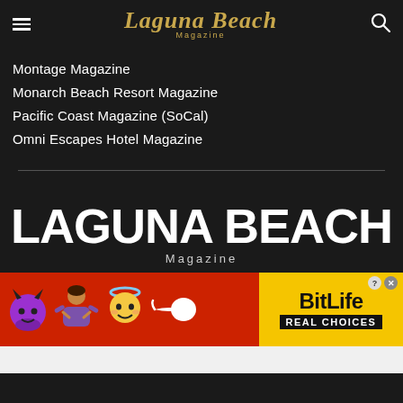Laguna Beach Magazine
Montage Magazine
Monarch Beach Resort Magazine
Pacific Coast Magazine (SoCal)
Omni Escapes Hotel Magazine
[Figure (logo): Laguna Beach Magazine large white logo]
[Figure (photo): BitLife advertisement banner with emojis (devil, person, angel, sperm) and text REAL CHOICES on red background]